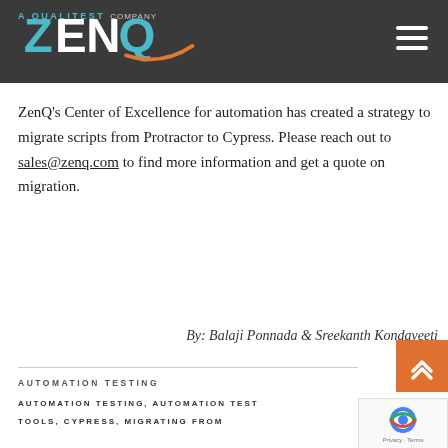[Figure (logo): ZenQ logo — a Qualitest Company — white/teal text on dark gray header bar with hamburger menu icon]
ZenQ's Center of Excellence for automation has created a strategy to migrate scripts from Protractor to Cypress. Please reach out to sales@zenq.com to find more information and get a quote on migration.
By: Balaji Ponnada & Sreekanth Kondaveeti
AUTOMATION TESTING
AUTOMATION TESTING, AUTOMATION TESTING TOOLS, CYPRESS, MIGRATING FROM